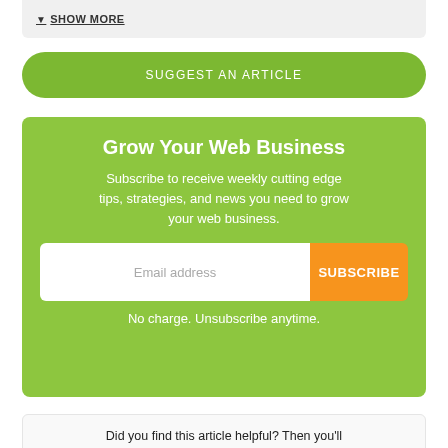SHOW MORE
SUGGEST AN ARTICLE
Grow Your Web Business
Subscribe to receive weekly cutting edge tips, strategies, and news you need to grow your web business.
Email address
SUBSCRIBE
No charge. Unsubscribe anytime.
Did you find this article helpful? Then you'll love our support. Experience the A2